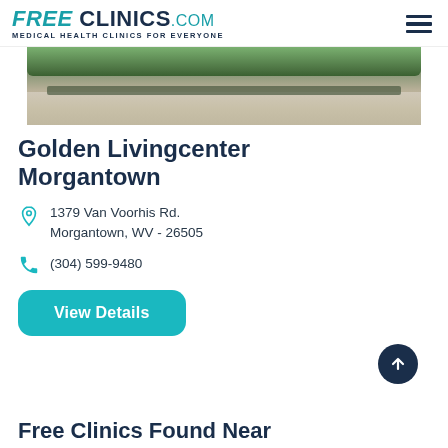FREE CLINICS.COM Medical Health Clinics For Everyone
[Figure (photo): Exterior photo of clinic building showing hedges and pavement/driveway]
Golden Livingcenter Morgantown
1379 Van Voorhis Rd.
Morgantown, WV - 26505
(304) 599-9480
View Details
Free Clinics Found Near